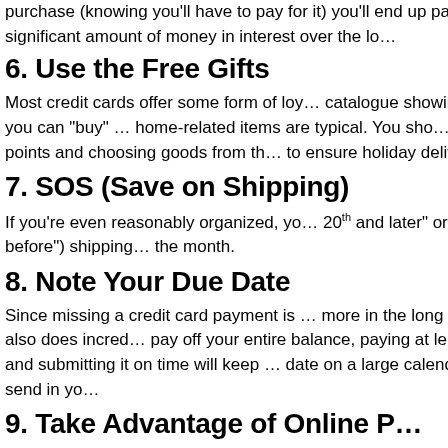purchase (knowing you'll have to pay for it) you'll end up paying a significant amount of money in interest over the lo…
6. Use the Free Gifts
Most credit cards offer some form of loyalty programme with a catalogue showing what you can "buy" with your points. Books, DVDs, and home-related items are typical. You should consider redeeming your points and choosing goods from the catalogue early enough to ensure holiday delivery.
7. SOS (Save on Shipping)
If you're even reasonably organized, you can avoid expensive "20th and later" or "day before") shipping rates by shopping early in the month.
8. Note Your Due Date
Since missing a credit card payment is guaranteed to cost you more in the long run, it also does incredible damage to your credit. If you can't pay off your entire balance, paying at least the minimum (and more if you can get at it) and submitting it on time will keep your credit score healthy. Mark the date on a large calendar and send in yo…
9. Take Advantage of Online P…